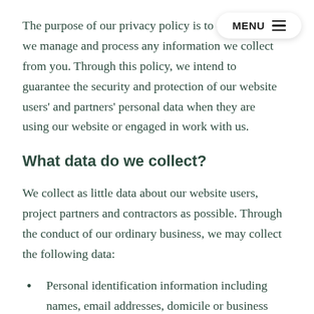The purpose of our privacy policy is to explain how we manage and process any information we collect from you. Through this policy, we intend to guarantee the security and protection of our website users' and partners' personal data when they are using our website or engaged in work with us.
What data do we collect?
We collect as little data about our website users, project partners and contractors as possible. Through the conduct of our ordinary business, we may collect the following data:
Personal identification information including names, email addresses, domicile or business addresses, phone numbers, social media handles or other